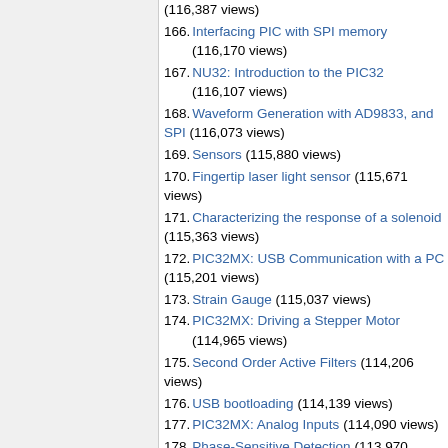(116,387 views)
166. Interfacing PIC with SPI memory (116,170 views)
167. NU32: Introduction to the PIC32 (116,107 views)
168. Waveform Generation with AD9833, and SPI (116,073 views)
169. Sensors (115,880 views)
170. Fingertip laser light sensor (115,671 views)
171. Characterizing the response of a solenoid (115,363 views)
172. PIC32MX: USB Communication with a PC (115,201 views)
173. Strain Gauge (115,037 views)
174. PIC32MX: Driving a Stepper Motor (114,965 views)
175. Second Order Active Filters (114,206 views)
176. USB bootloading (114,139 views)
177. PIC32MX: Analog Inputs (114,090 views)
178. Phase-Sensitive Detection (113,970 views)
179. Continuously Variable Transmission (113,531 views)